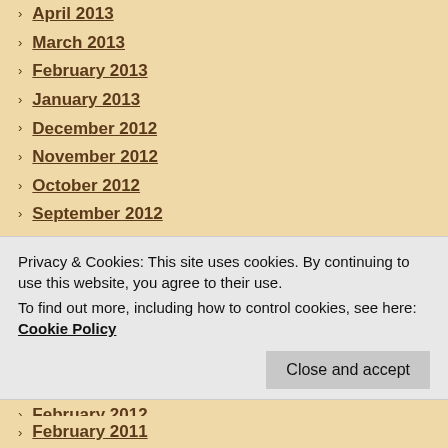April 2013
March 2013
February 2013
January 2013
December 2012
November 2012
October 2012
September 2012
August 2012
July 2012
June 2012
May 2012
April 2012
March 2012
February 2012
January 2012
December 2011
November 2011
Privacy & Cookies: This site uses cookies. By continuing to use this website, you agree to their use. To find out more, including how to control cookies, see here: Cookie Policy
February 2011